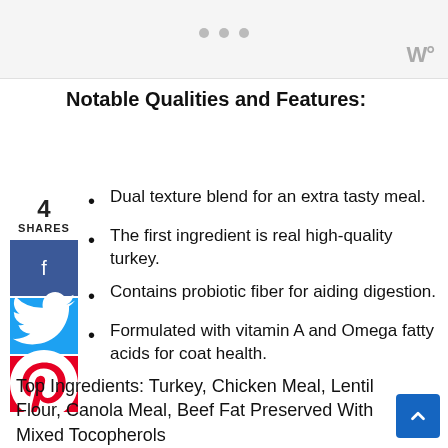[Figure (other): Top grey bar with three pagination dots and a 'W' logo icon in the lower right]
Notable Qualities and Features:
Dual texture blend for an extra tasty meal.
The first ingredient is real high-quality turkey.
Contains probiotic fiber for aiding digestion.
Formulated with vitamin A and Omega fatty acids for coat health.
Top Ingredients: Turkey, Chicken Meal, Lentil Flour, Canola Meal, Beef Fat Preserved With Mixed Tocopherols